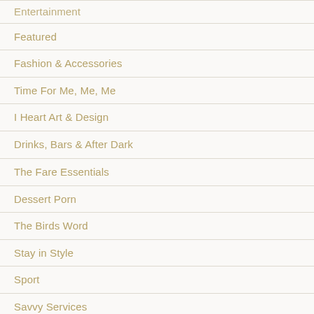Entertainment
Featured
Fashion & Accessories
Time For Me, Me, Me
I Heart Art & Design
Drinks, Bars & After Dark
The Fare Essentials
Dessert Porn
The Birds Word
Stay in Style
Sport
Savvy Services
Pet's Paradise